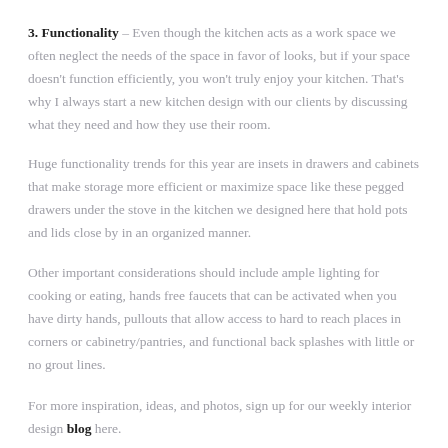3. Functionality – Even though the kitchen acts as a work space we often neglect the needs of the space in favor of looks, but if your space doesn't function efficiently, you won't truly enjoy your kitchen. That's why I always start a new kitchen design with our clients by discussing what they need and how they use their room.
Huge functionality trends for this year are insets in drawers and cabinets that make storage more efficient or maximize space like these pegged drawers under the stove in the kitchen we designed here that hold pots and lids close by in an organized manner.
Other important considerations should include ample lighting for cooking or eating, hands free faucets that can be activated when you have dirty hands, pullouts that allow access to hard to reach places in corners or cabinetry/pantries, and functional back splashes with little or no grout lines.
For more inspiration, ideas, and photos, sign up for our weekly interior design blog here.